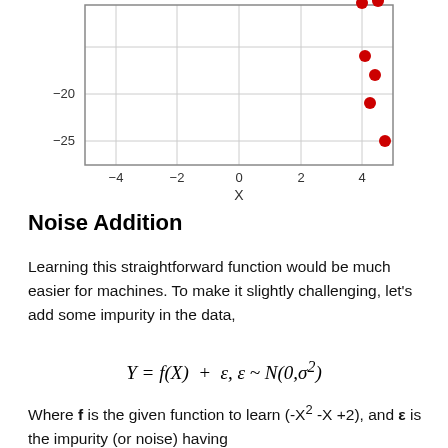[Figure (continuous-plot): Scatter plot (partial, top cropped) showing red dots at high x values (around x=4 to 5), y values from about -10 to -25. Y-axis labels: -20, -25. X-axis labels: -4, -2, 0, 2, 4. Axis label: X.]
Noise Addition
Learning this straightforward function would be much easier for machines. To make it slightly challenging, let's add some impurity in the data,
Where f is the given function to learn (-X² -X +2), and ε is the impurity (or noise) having